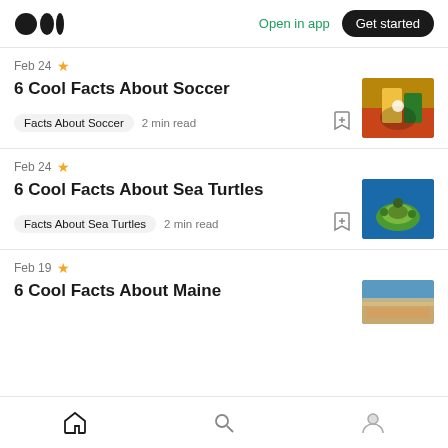Medium logo | Open in app | Get started
Feb 24 ★
6 Cool Facts About Soccer
Facts About Soccer  2 min read
[Figure (photo): Two soccer players in yellow and green uniforms competing for the ball]
Feb 24 ★
6 Cool Facts About Sea Turtles
Facts About Sea Turtles  2 min read
[Figure (photo): Sea turtle swimming underwater with green shell visible]
Feb 19 ★
6 Cool Facts About Maine
[Figure (photo): Aerial or landscape photo of Maine coastline]
Home | Search | Profile